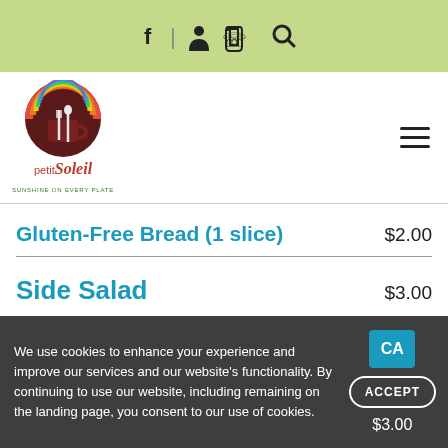f | [user icon] [phone icon] [search icon]
[Figure (logo): Petit Soleil restaurant logo — circular emblem with colorful rainbow-like arc, coffee cup, fork and spoon, dark maroon background. Text: petit Soleil, SUNSHINE ON EVERY PLATE]
Gluten-Free Bread (1 slice)  $2.00
Side Salad  $3.00
We use cookies to enhance your experience and improve our services and our website's functionality. By continuing to use our website, including remaining on the landing page, you consent to our use of cookies.
ACCEPT
$3.00